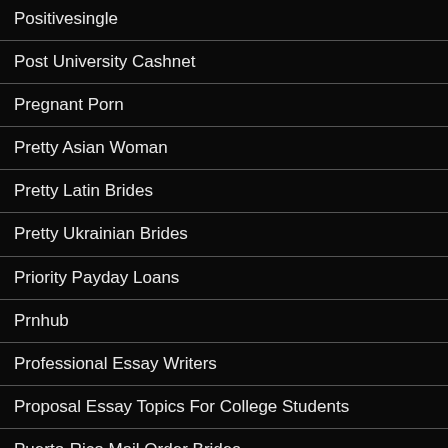Positivesingle
Post University Cashnet
Pregnant Porn
Pretty Asian Woman
Pretty Latin Brides
Pretty Ukrainian Brides
Priority Payday Loans
Prnhub
Professional Essay Writers
Proposal Essay Topics For College Students
Puerto-Rico Mail Order Brides
Pure Cbd Oil
pussysaga dating